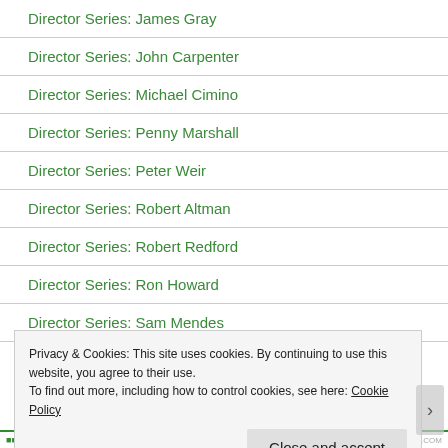Director Series: James Gray
Director Series: John Carpenter
Director Series: Michael Cimino
Director Series: Penny Marshall
Director Series: Peter Weir
Director Series: Robert Altman
Director Series: Robert Redford
Director Series: Ron Howard
Director Series: Sam Mendes
Privacy & Cookies: This site uses cookies. By continuing to use this website, you agree to their use.
To find out more, including how to control cookies, see here: Cookie Policy